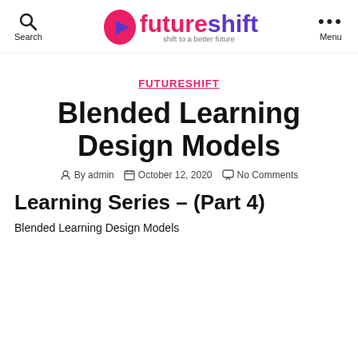futureshift — shift to a better future
FUTURESHIFT
Blended Learning Design Models
By admin   October 12, 2020   No Comments
Learning Series – (Part 4)
Blended Learning Design Models